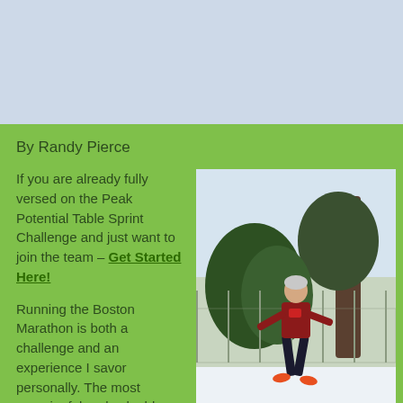[Figure (photo): Light blue/grey rectangular image area at the top of the page, likely a header image placeholder]
By Randy Pierce
If you are already fully versed on the Peak Potential Table Sprint Challenge and just want to join the team – Get Started Here!
[Figure (photo): Photo of a man in a red t-shirt and black shorts running or posing outdoors in snowy conditions, with trees and a chain-link fence in the background]
Running the Boston Marathon is both a challenge and an experience I savor personally. The most meaningful and valuable